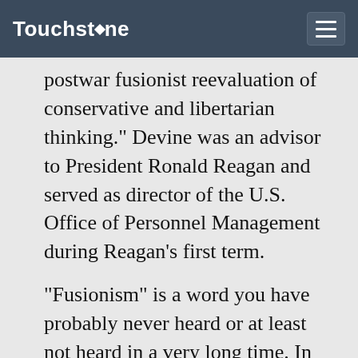Touchstone
postwar fusionist reevaluation of conservative and libertarian thinking." Devine was an advisor to President Ronald Reagan and served as director of the U.S. Office of Personnel Management during Reagan's first term.
"Fusionism" is a word you have probably never heard or at least not heard in a very long time. In the early 1960s, it was the term given to an attempt by Frank Meyer, one of the founding editors of National Review, to